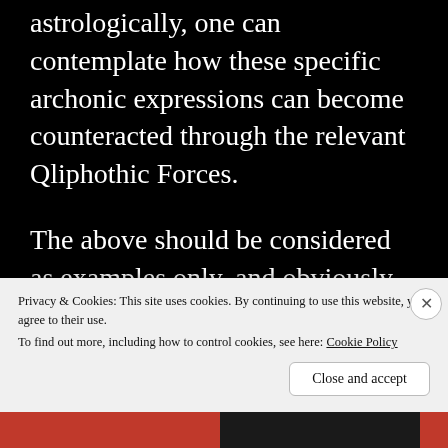astrologically, one can contemplate how these specific archonic expressions can become counteracted through the relevant Qliphothic Forces.
The above should be considered as examples only, and obviously there are a lot more to delve into than these two factors.
To contemplate one’s own personality and it’s
Privacy & Cookies: This site uses cookies. By continuing to use this website, you agree to their use. To find out more, including how to control cookies, see here: Cookie Policy
Close and accept